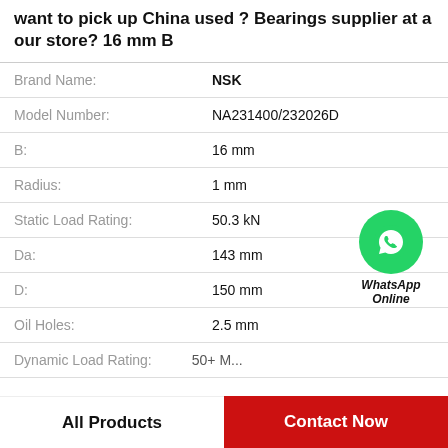want to pick up China used ? Bearings supplier at a our store? 16 mm B
| Property | Value |
| --- | --- |
| Brand Name: | NSK |
| Model Number: | NA231400/232026D |
| B: | 16 mm |
| Radius: | 1 mm |
| Static Load Rating: | 50.3 kN |
| Da: | 143 mm |
| D: | 150 mm |
| Oil Holes: | 2.5 mm |
| Dynamic Load Rating: | 50+ kN |
[Figure (logo): WhatsApp Online green circle icon with phone handset and text WhatsApp Online]
All Products
Contact Now